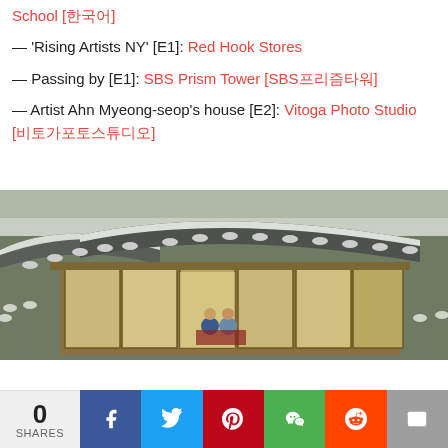School [한국어]
— 'Rising Artists NY' [E1]: Red Hook Stores
— Passing by [E1]: SBS Prism Tower [SBS프리즘타워]
— Artist Ahn Myeong-seop's house [E2]: Vitoga Photo Studio [비토가포토스튜디오]
[Figure (photo): Traditional Korean hanok building covered in snow, view from above showing curved tiled roofs, wooden sliding doors, two people sitting inside on a mat]
0 SHARES | Facebook | Twitter | Pinterest | WeChat | Reddit | Email